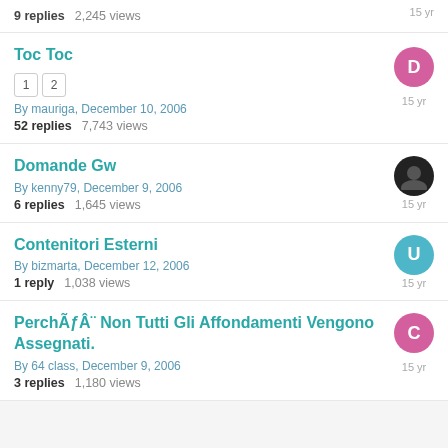9 replies   2,245 views   15 yr
Toc Toc
By mauriga, December 10, 2006
52 replies   7,743 views   15 yr
Domande Gw
By kenny79, December 9, 2006
6 replies   1,645 views   15 yr
Contenitori Esterni
By bizmarta, December 12, 2006
1 reply   1,038 views   15 yr
PerchÃƒÂ¨ Non Tutti Gli Affondamenti Vengono Assegnati.
By 64 class, December 9, 2006
3 replies   1,180 views   15 yr